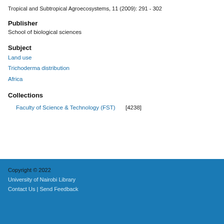Tropical and Subtropical Agroecosystems, 11 (2009): 291 - 302
Publisher
School of biological sciences
Subject
Land use
Trichoderma distribution
Africa
Collections
Faculty of Science & Technology (FST) [4238]
Copyright © 2022
University of Nairobi Library
Contact Us | Send Feedback